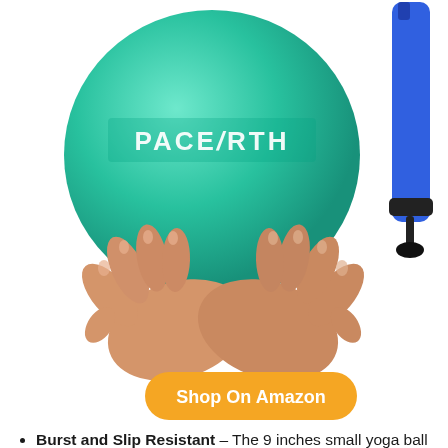[Figure (photo): Hands holding a teal/green yoga ball with PACEARTH logo, alongside a blue hand pump, on white background. Below the image is an orange 'Shop On Amazon' button.]
Burst and Slip Resistant – The 9 inches small yoga ball is made from durable and anti-slip PVC, and honeycomb structure design is prevent from bursting.